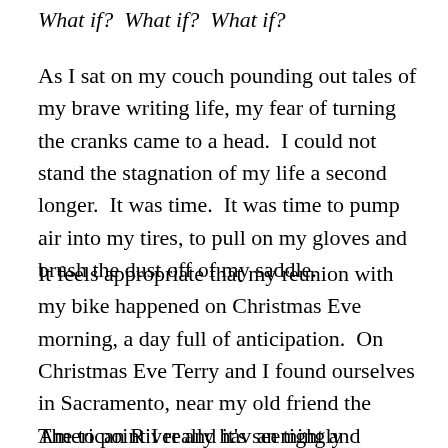What if?  What if?  What if?
As I sat on my couch pounding out tales of my brave writing life, my fear of turning the cranks came to a head.  I could not stand the stagnation of my life a second longer.  It was time.  It was time to pump air into my tires, to pull on my gloves and brush the dust off of my saddle.
It feels appropriate that my reunion with my bike happened on Christmas Eve morning, a day full of anticipation.  On Christmas Eve Terry and I found ourselves in Sacramento, near my old friend the American River and it's seemingly unending bike trail.
The to point I really hav an tight and...